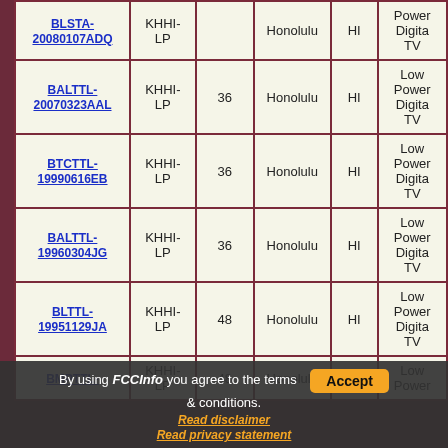| File Number | Call Sign | Channel | City | State | Service |
| --- | --- | --- | --- | --- | --- |
| BLSTA-20080107ADQ | KHHI-LP |  | Honolulu | HI | Low Power Digital TV |
| BALTTL-20070323AAL | KHHI-LP | 36 | Honolulu | HI | Low Power Digital TV |
| BTCTTL-19990616EB | KHHI-LP | 36 | Honolulu | HI | Low Power Digital TV |
| BALTTL-19960304JG | KHHI-LP | 36 | Honolulu | HI | Low Power Digital TV |
| BLTTL-19951129JA | KHHI-LP | 48 | Honolulu | HI | Low Power Digital TV |
| BMPTTL- | KHHI-LP | 48 | Honolulu | HI | Low Power TV |
By using FCCInfo you agree to the terms & conditions. Read disclaimer Read privacy statement